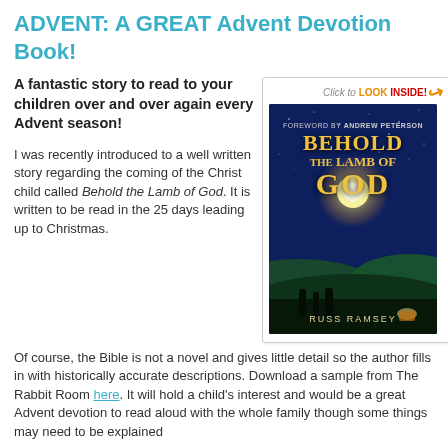ADVENT: A GREAT Advent Devotion Book!
A fantastic story to read to your children over and over again every Advent season!
[Figure (photo): Book cover of 'Behold the Lamb of God' by Russ Ramsey, with a 'Click to LOOK INSIDE!' overlay. The cover shows a dark blue starry night sky with a glowing moon/star over rolling hills, with silhouettes of figures. Text on cover: Foreword by Andrew Peterson, BEHOLD THE LAMB OF GOD, RUSS RAMSEY.]
I was recently introduced to a well written story regarding the coming of the Christ child called Behold the Lamb of God. It is written to be read in the 25 days leading up to Christmas. Of course, the Bible is not a novel and gives little detail so the author fills in with historically accurate descriptions. Download a sample from The Rabbit Room here. It will hold a child's interest and would be a great Advent devotion to read aloud with the whole family though some things may need to be explained